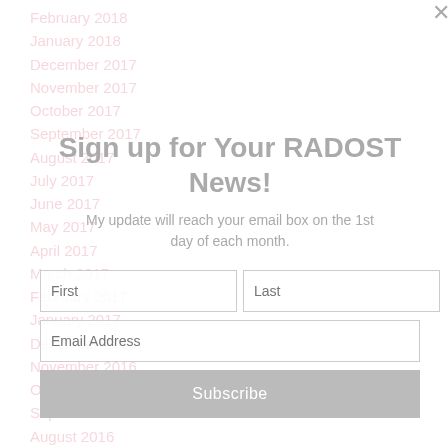February 2018
January 2018
December 2017
November 2017
October 2017
September 2017
August 2017
July 2017
June 2017
May 2017
April 2017
March 2017
February 2017
January 2017
December 2016
November 2016
October 2016
September 2016
August 2016
July 2016
June 2016
[Figure (screenshot): Email newsletter signup modal overlay with title 'Sign up for Your RADOST News!', subtitle text, first/last name fields, email address field, and Subscribe button]
Sign up for Your RADOST News!
My update will reach your email box on the 1st day of each month.